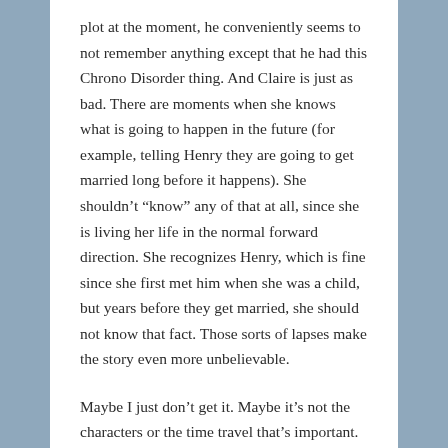plot at the moment, he conveniently seems to not remember anything except that he had this Chrono Disorder thing. And Claire is just as bad. There are moments when she knows what is going to happen in the future (for example, telling Henry they are going to get married long before it happens). She shouldn't “know” any of that at all, since she is living her life in the normal forward direction. She recognizes Henry, which is fine since she first met him when she was a child, but years before they get married, she should not know that fact. Those sorts of lapses make the story even more unbelievable.
Maybe I just don’t get it. Maybe it’s not the characters or the time travel that’s important. Maybe it’s the relationship and the struggles and the emotions that are the thing. But, honestly, without